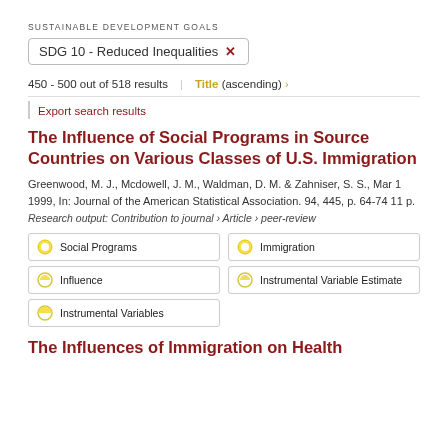SUSTAINABLE DEVELOPMENT GOALS
SDG 10 - Reduced Inequalities ×
450 - 500 out of 518 results   Title (ascending) ›
Export search results
The Influence of Social Programs in Source Countries on Various Classes of U.S. Immigration
Greenwood, M. J., Mcdowell, J. M., Waldman, D. M. & Zahniser, S. S., Mar 1 1999, In: Journal of the American Statistical Association. 94, 445, p. 64-74 11 p.
Research output: Contribution to journal › Article › peer-review
Social Programs
Immigration
Influence
Instrumental Variable Estimate
Instrumental Variables
The Influences of Immigration on Health